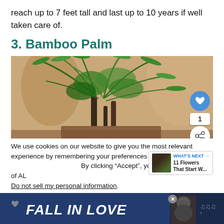reach up to 7 feet tall and last up to 10 years if well taken care of.
3. Bamboo Palm
[Figure (photo): Photo of a Bamboo Palm plant with green fronds in an indoor setting with blurred background]
We use cookies on our website to give you the most relevant experience by remembering your preferences and... By clicking “Accept”, you consent to the use of AL...
Do not sell my personal information.
[Figure (infographic): WHAT'S NEXT banner: 11 Flowers That Start W...]
[Figure (infographic): FALL IN LOVE advertisement banner at bottom of page]